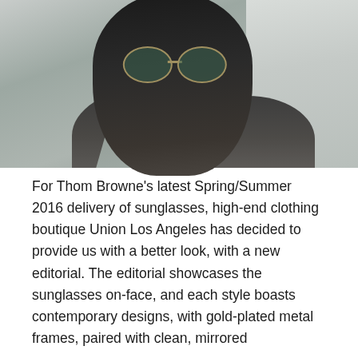[Figure (photo): A Black man wearing round gold-framed mirrored sunglasses and a grey collared shirt, photographed from the shoulders up against a light grey wall background.]
For Thom Browne's latest Spring/Summer 2016 delivery of sunglasses, high-end clothing boutique Union Los Angeles has decided to provide us with a better look, with a new editorial. The editorial showcases the sunglasses on-face, and each style boasts contemporary designs, with gold-plated metal frames, paired with clean, mirrored